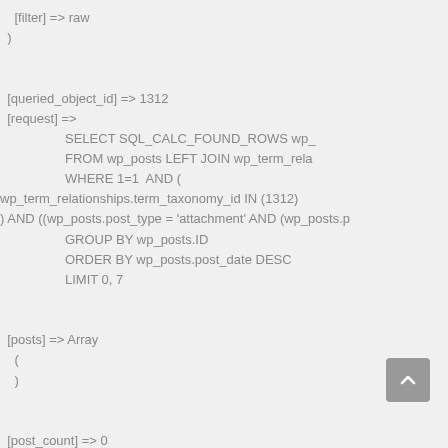[filter] => raw
  )


  [queried_object_id] => 1312
  [request] =>
                  SELECT SQL_CALC_FOUND_ROWS wp_
                  FROM wp_posts LEFT JOIN wp_term_rela
                  WHERE 1=1 AND (
wp_term_relationships.term_taxonomy_id IN (1312)
) AND ((wp_posts.post_type = 'attachment' AND (wp_posts.p
                  GROUP BY wp_posts.ID
                  ORDER BY wp_posts.post_date DESC
                  LIMIT 0, 7


  [posts] => Array
    (
    )


  [post_count] => 0
  [current_post] => -1
  [in_the_loop] =>